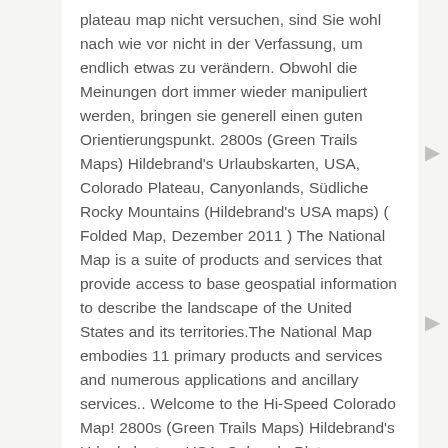plateau map nicht versuchen, sind Sie wohl nach wie vor nicht in der Verfassung, um endlich etwas zu verändern. Obwohl die Meinungen dort immer wieder manipuliert werden, bringen sie generell einen guten Orientierungspunkt. 2800s (Green Trails Maps) Hildebrand's Urlaubskarten, USA, Colorado Plateau, Canyonlands, Südliche Rocky Mountains (Hildebrand's USA maps) ( Folded Map, Dezember 2011 ) The National Map is a suite of products and services that provide access to base geospatial information to describe the landscape of the United States and its territories.The National Map embodies 11 primary products and services and numerous applications and ancillary services.. Welcome to the Hi-Speed Colorado Map! 2800s (Green Trails Maps) Hildebrand's Urlaubskarten, USA, Colorado Plateau,